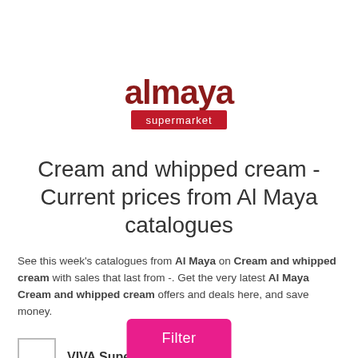[Figure (logo): Al Maya Supermarket logo — 'almaya' in dark red lowercase text with a red rectangle containing 'supermarket' in white text below]
Cream and whipped cream - Current prices from Al Maya catalogues
See this week's catalogues from Al Maya on Cream and whipped cream with sales that last from -. Get the very latest Al Maya Cream and whipped cream offers and deals here, and save money.
VIVA Supermarket
Filter